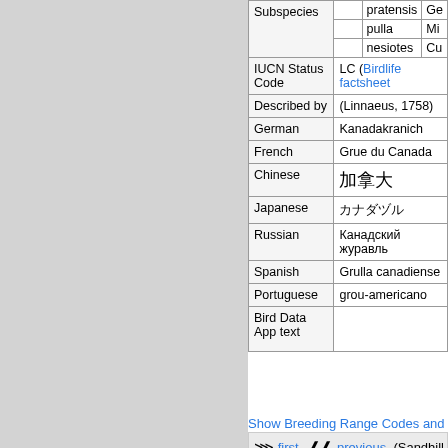| Field | Sub1 | Sub2 | Sub3 |
| --- | --- | --- | --- |
| Subspecies |  | pratensis | Ge... |
|  |  | pulla | Mi... |
|  |  | nesiotes | Cu... |
| IUCN Status Code |  | LC (Birdlife factsheet... |  |
| Described by |  | (Linnaeus, 1758) |  |
| German |  | Kanadakranich |  |
| French |  | Grue du Canada |  |
| Chinese |  | 加拿大鹤 |  |
| Japanese |  | カナダヅル |  |
| Russian |  | Канадский журавль |  |
| Spanish |  | Grulla canadiense |  |
| Portuguese |  | grou-americano |  |
| Bird Data App text |  |  |  |
Show Breeding Range Codes and Il...
first   previous  (Sandhill C...